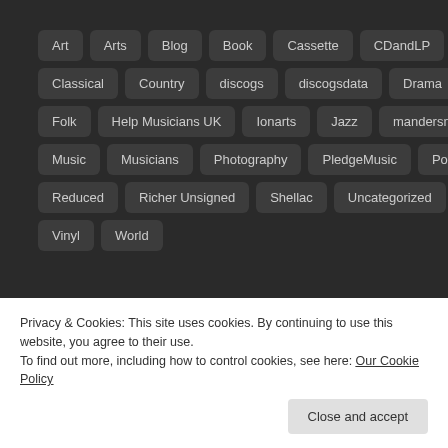Art
Arts
Blog
Book
Cassette
CDandLP
Charity
Classical
Country
discogs
discogsdata
Drama
Film
Folk
Help Musicians UK
Ionarts
Jazz
mandersmedia
Music
Musicians
Photography
PledgeMusic
Popular
Reduced
Richer Unsigned
Shellac
Uncategorized
Video
Vinyl
World
COMMUNITY
Privacy & Cookies: This site uses cookies. By continuing to use this website, you agree to their use.
To find out more, including how to control cookies, see here: Our Cookie Policy
Close and accept